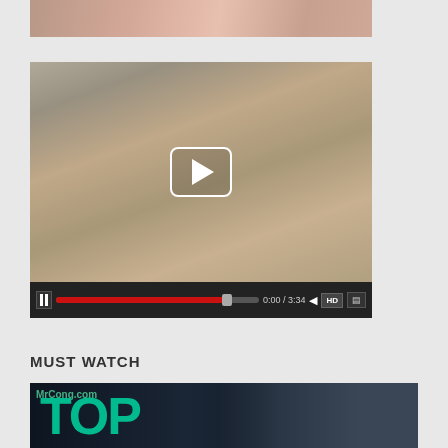[Figure (screenshot): Partial video thumbnail at top of page, cropped image]
[Figure (screenshot): Video player showing adult content thumbnail with play button overlay and video controls bar showing 0:00/3:34, HD button]
MUST WATCH
[Figure (screenshot): Bottom thumbnail image with large teal/green TOP text overlay and MrCong.com watermark, dark background with person visible]